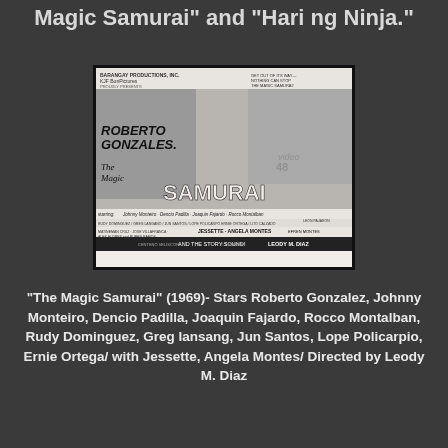Magic Samurai" and "Hari ng Ninja."
[Figure (photo): Black and white movie poster for 'The Magic Samurai' (1969) featuring Roberto Gonzales. The poster shows action scenes with multiple actors, martial arts imagery. Text includes Roberto Gonzales, The Magic Samurai, starring Johnny Monteiro, Dencio Padilla, Joaquin Fajardo, Rocco Montalban, and others. Directed by Leody M. Diaz.]
"The Magic Samurai" (1969)- Stars Roberto Gonzalez, Johnny Monteiro, Dencio Padilla, Joaquin Fajardo, Rocco Montalban, Rudy Dominguez, Greg Iansang, Jun Santos, Lope Policarpio, Ernie Ortega/ with Jessette, Angela Montes/ Directed by Leody M. Diaz